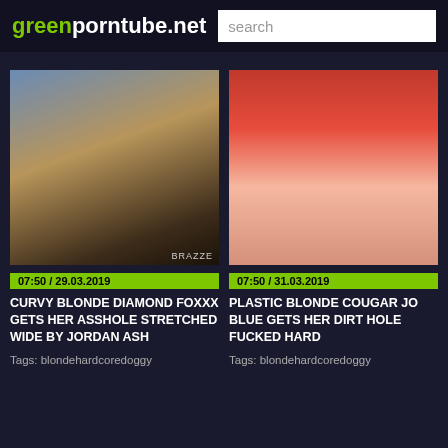greenporntube.net  search
[Figure (photo): Video thumbnail showing blonde woman on couch with BRAZZERS watermark]
07:50 / 29.03.2019
CURVY BLONDE DIAMOND FOXXX GETS HER ASSHOLE STRETCHED WIDE BY JORDAN ASH
Tags: blondehardcoredoggy
[Figure (photo): Video thumbnail showing close-up scene with red background]
07:50 / 31.03.2019
PLASTIC BLONDE COUGAR JO BLUE GETS HER DIRT HOLE FUCKED HARD
Tags: blondehardcoredoggy